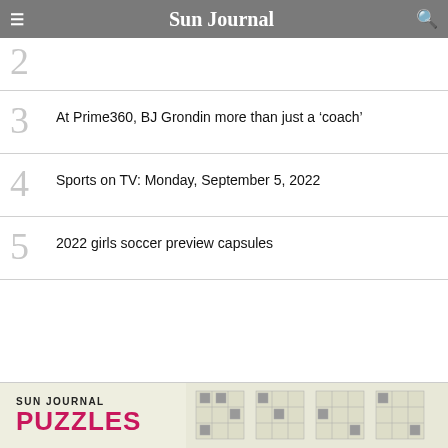Sun Journal
2  [partial article title visible]
3  At Prime360, BJ Grondin more than just a ‘coach’
4  Sports on TV: Monday, September 5, 2022
5  2022 girls soccer preview capsules
[Figure (screenshot): Sun Journal Puzzles advertisement banner at bottom of page]